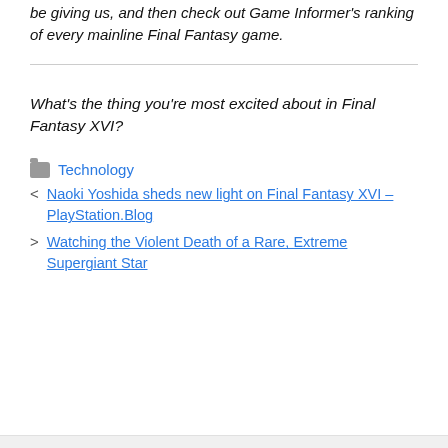be giving us, and then check out Game Informer's ranking of every mainline Final Fantasy game.
What's the thing you're most excited about in Final Fantasy XVI?
Technology
< Naoki Yoshida sheds new light on Final Fantasy XVI – PlayStation.Blog
> Watching the Violent Death of a Rare, Extreme Supergiant Star